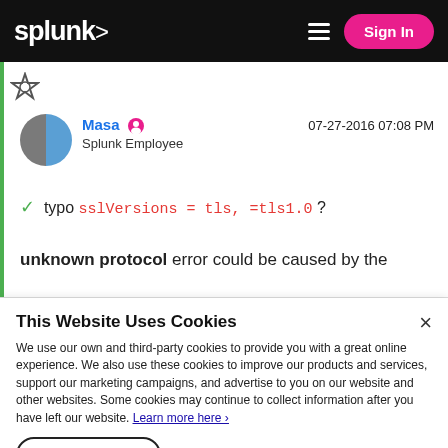splunk> Sign In
[Figure (illustration): Award/badge icon in green left-border section]
Masa  Splunk Employee  07-27-2016 07:08 PM
✅ typo sslVersions = tls, =tls1.0 ?
unknown protocol error could be caused by the
This Website Uses Cookies
We use our own and third-party cookies to provide you with a great online experience. We also use these cookies to improve our products and services, support our marketing campaigns, and advertise to you on our website and other websites. Some cookies may continue to collect information after you have left our website. Learn more here ›
Accept Cookies   Cookies Settings ›